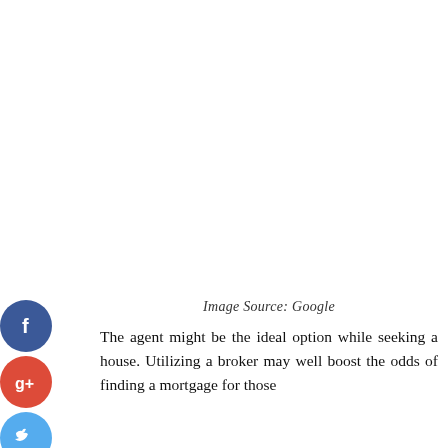[Figure (other): Social media share buttons (Facebook, Google+, Twitter, and a plus/add button) displayed as circular icons on the left side of the page]
Image Source: Google
The agent might be the ideal option while seeking a house. Utilizing a broker may well boost the odds of finding a mortgage for those